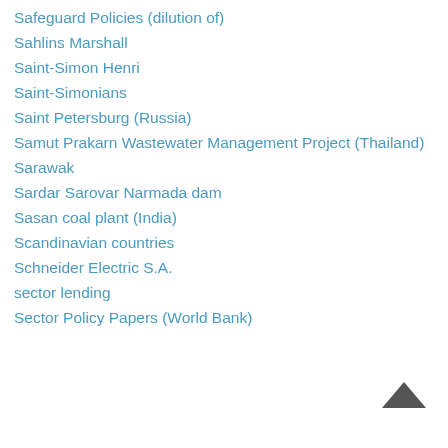Safeguard Policies (dilution of)
Sahlins Marshall
Saint-Simon Henri
Saint-Simonians
Saint Petersburg (Russia)
Samut Prakarn Wastewater Management Project (Thailand)
Sarawak
Sardar Sarovar Narmada dam
Sasan coal plant (India)
Scandinavian countries
Schneider Electric S.A.
sector lending
Sector Policy Papers (World Bank)
[Figure (other): Back to top arrow icon (chevron pointing upward) in dark grey/charcoal color]